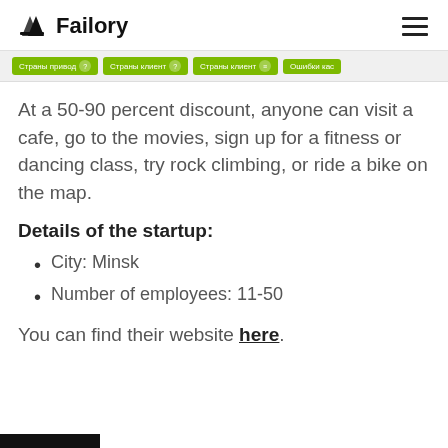Failory
[Figure (screenshot): Navigation bar with four green buttons showing Cyrillic text labels with question mark and number badges]
At a 50-90 percent discount, anyone can visit a cafe, go to the movies, sign up for a fitness or dancing class, try rock climbing, or ride a bike on the map.
Details of the startup:
City: Minsk
Number of employees: 11-50
You can find their website here.